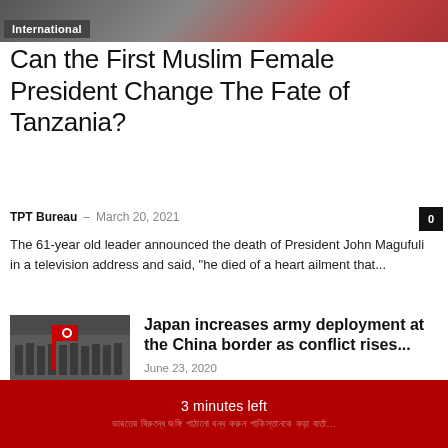[Figure (photo): Header image with soldiers/flags, partially visible, with 'International' label overlay]
Can the First Muslim Female President Change The Fate of Tanzania?
TPT Bureau – March 20, 2021
The 61-year old leader announced the death of President John Magufuli in a television address and said, "he died of a heart ailment that...
[Figure (photo): Soldiers in formation with Japanese flag]
Japan increases army deployment at the China border as conflict rises...
June 23, 2020
ভারতের বিরুদ্ধে জঙ্গি পাঠানো বন্ধ করুন, পাকিস্তানকে কড়া বার্তা...
June 1, 2019
3 minutes left